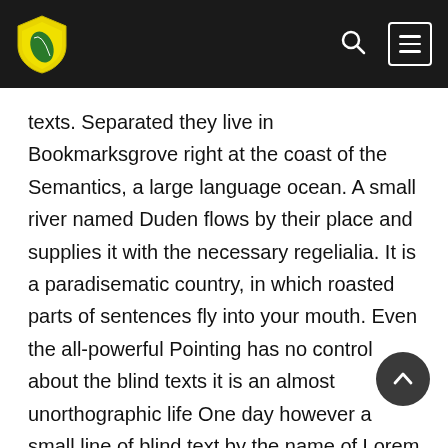[Navigation bar with shield logo, search icon, and menu button]
texts. Separated they live in Bookmarksgrove right at the coast of the Semantics, a large language ocean. A small river named Duden flows by their place and supplies it with the necessary regelialia. It is a paradisematic country, in which roasted parts of sentences fly into your mouth. Even the all-powerful Pointing has no control about the blind texts it is an almost unorthographic life One day however a small line of blind text by the name of Lorem Ipsum decided to leave for the far World of Grammar. The Big Oxmox advised her not to do so, because there were thousands of bad Commas, wild Question Marks and devious Semikoli, but the Little Blind Text didn't listen. She packed her seven versa put her initial into the belt and made herself on the way. When she reached the first hills of the Italic Mountains